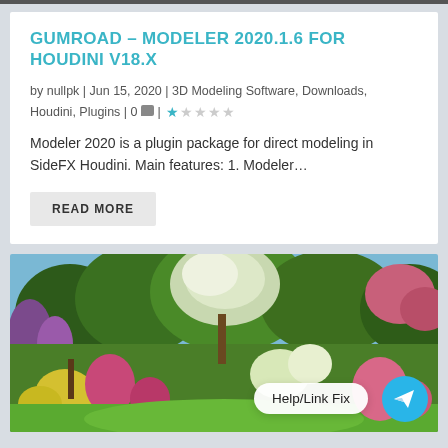GUMROAD – MODELER 2020.1.6 FOR HOUDINI V18.X
by nullpk | Jun 15, 2020 | 3D Modeling Software, Downloads, Houdini, Plugins | 0 💬 | ★☆☆☆☆
Modeler 2020 is a plugin package for direct modeling in SideFX Houdini. Main features: 1. Modeler…
READ MORE
[Figure (photo): Garden scene with colorful flowering plants and trees, featuring a Help/Link Fix button and Telegram icon overlay in the bottom right corner.]